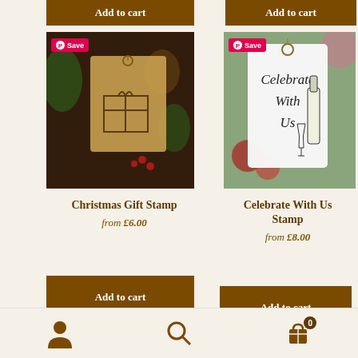[Figure (screenshot): Two product cards for rubber stamps on an e-commerce page. Left card: Christmas Gift Stamp image with dark background and gift tag. Right card: Celebrate With Us Stamp image with white gift tag showing calligraphy text and champagne bottle. Both have Pinterest Save badges. Products listed with prices and Add to cart buttons. Bottom navigation bar with user, search, and cart icons.]
Christmas Gift Stamp
from £6.00
Add to cart
Celebrate With Us Stamp
from £8.00
Add to cart